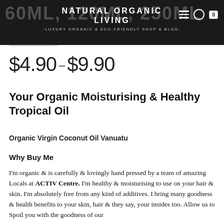NATURAL ORGANIC LIVING -LUXURY ORGANIC & ECO-FRIENDLY SHOP & BLOG-
(1 customer review)
$4.90 – $9.90
Your Organic Moisturising & Healthy Tropical Oil
Organic Virgin Coconut Oil Vanuatu
Why Buy Me
I'm organic & is carefully & lovingly hand pressed by a team of amazing Locals at ACTIV Centre. I'm healthy & moisturising to use on your hair & skin. I'm absolutely free from any kind of additives. I bring many goodness & health benefits to your skin, hair & they say, your insides too. Allow us to Spoil you with the goodness of our